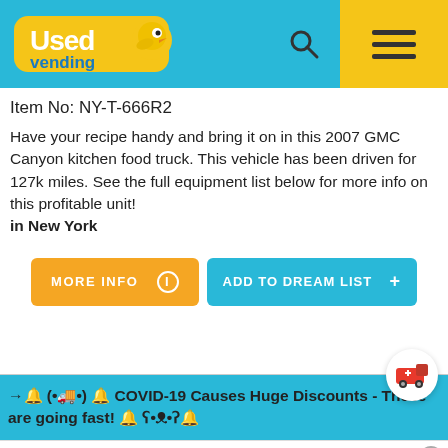[Figure (logo): UsedVending.com logo on cyan header bar with search and hamburger menu icons]
Item No: NY-T-666R2
Have your recipe handy and bring it on in this 2007 GMC Canyon kitchen food truck. This vehicle has been driven for 127k miles. See the full equipment list below for more info on this profitable unit! in New York
MORE INFO  i   ADD TO DREAM LIST  +
→🔔 (•🚚•) 🔔 COVID-19 Causes Huge Discounts - These are going fast! 🔔 ʕ•ᴥ•ʔ🔔
[Figure (infographic): Advertisement bar: LT Rush Stone & Fireplace - Fireplace Services with OPEN button]